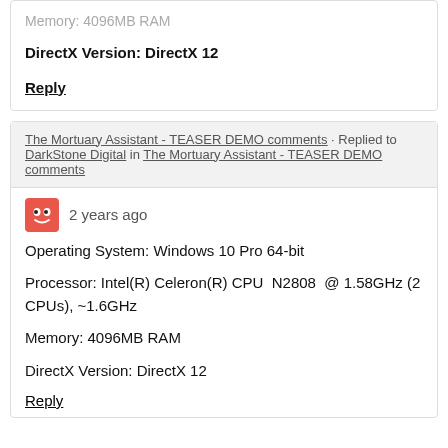Memory: 4096MB RAM
DirectX Version: DirectX 12
Reply
The Mortuary Assistant - TEASER DEMO comments · Replied to DarkStone Digital in The Mortuary Assistant - TEASER DEMO comments
2 years ago
Operating System: Windows 10 Pro 64-bit
Processor: Intel(R) Celeron(R) CPU  N2808  @ 1.58GHz (2 CPUs), ~1.6GHz
Memory: 4096MB RAM
DirectX Version: DirectX 12
Reply